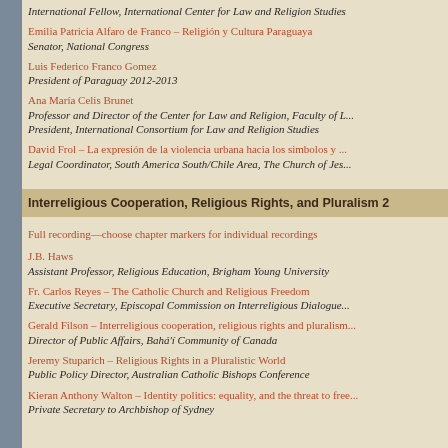International Fellow, International Center for Law and Religion Studies
Emilia Patricia Alfaro de Franco – Religión y Cultura Paraguaya
Senator, National Congress
Luis Federico Franco Gomez
President of Paraguay 2012-2013
Ana María Celis Brunet
Professor and Director of the Center for Law and Religion, Faculty of L...
President, International Consortium for Law and Religion Studies
David Frol – La expresión de la violencia urbana hacia los simbolos y...
Legal Coordinator, South America South/Chile Area, The Church of Jes...
Interreligious Cooperation, Religious Rights, and Pluralism 2
Full recording—choose chapter markers for individual recordings
J.B. Haws
Assistant Professor, Religious Education, Brigham Young University
Fr. Carlos Reyes – The Catholic Church and Religious Freedom
Executive Secretary, Episcopal Commission on Interreligious Dialogue...
Gerald Filson – Interreligious cooperation, religious rights and pluralism...
Director of Public Affairs, Bahá'í Community of Canada
Jeremy Stuparich – Religious Rights in a Pluralistic World
Public Policy Director, Australian Catholic Bishops Conference
Kieran Anthony Walton – Identity politics: equality, and the threat to free...
Private Secretary to Archbishop of Sydney